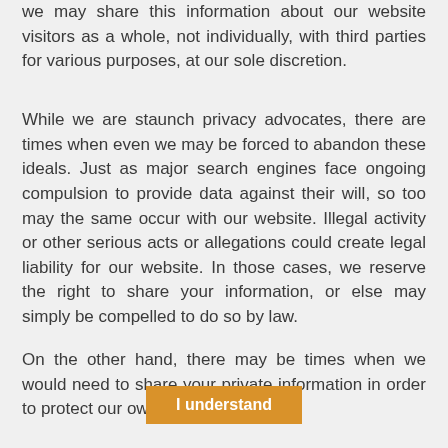we may share this information about our website visitors as a whole, not individually, with third parties for various purposes, at our sole discretion.
While we are staunch privacy advocates, there are times when even we may be forced to abandon these ideals. Just as major search engines face ongoing compulsion to provide data against their will, so too may the same occur with our website. Illegal activity or other serious acts or allegations could create legal liability for our website. In those cases, we reserve the right to share your information, or else may simply be compelled to do so by law.
On the other hand, there may be times when we would need to share your private information in order to protect our own
I understand